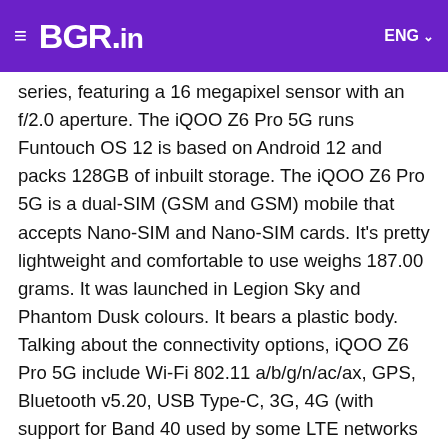BGR.in  ENG
series, featuring a 16 megapixel sensor with an f/2.0 aperture. The iQOO Z6 Pro 5G runs Funtouch OS 12 is based on Android 12 and packs 128GB of inbuilt storage. The iQOO Z6 Pro 5G is a dual-SIM (GSM and GSM) mobile that accepts Nano-SIM and Nano-SIM cards. It's pretty lightweight and comfortable to use weighs 187.00 grams. It was launched in Legion Sky and Phantom Dusk colours. It bears a plastic body. Talking about the connectivity options, iQOO Z6 Pro 5G include Wi-Fi 802.11 a/b/g/n/ac/ax, GPS, Bluetooth v5.20, USB Type-C, 3G, 4G (with support for Band 40 used by some LTE networks in India) , and 5G with active 4G on both SIM cards. As of 17th May 2022, iQOO Z6 Pro 5G price in India starts at Rs. 23,999. But, the introductory price for a while is Rs. 19,990/-.
Related Topics